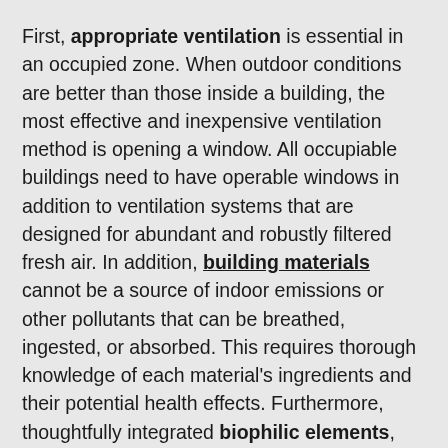First, appropriate ventilation is essential in an occupied zone. When outdoor conditions are better than those inside a building, the most effective and inexpensive ventilation method is opening a window. All occupiable buildings need to have operable windows in addition to ventilation systems that are designed for abundant and robustly filtered fresh air. In addition, building materials cannot be a source of indoor emissions or other pollutants that can be breathed, ingested, or absorbed. This requires thorough knowledge of each material's ingredients and their potential health effects. Furthermore, thoughtfully integrated biophilic elements, such as visual and non-visual connections to the outdoors, are known to improve occupants' psychological health, enhance learning, and increase productivity.